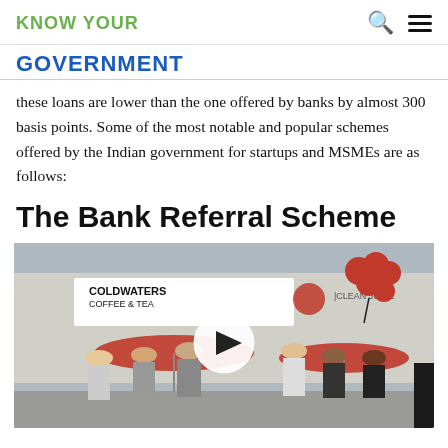KNOW YOUR
GOVERNMENT
these loans are lower than the one offered by banks by almost 300 basis points. Some of the most notable and popular schemes offered by the Indian government for startups and MSMEs are as follows:
The Bank Referral Scheme
[Figure (photo): A group of people standing outside a strip mall with stores including Coldwaters Coffee & Tea and Clean Juice, with red balloons and red umbrellas. A video play button overlay is visible in the center of the image.]